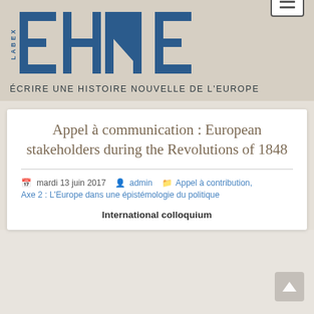[Figure (logo): LABEX EHNE logo — stylized letters EHNE in blue with LABEX written vertically]
ÉCRIRE UNE HISTOIRE NOUVELLE DE L'EUROPE
Appel à communication : European stakeholders during the Revolutions of 1848
mardi 13 juin 2017  admin  Appel à contribution, Axe 2 : L'Europe dans une épistémologie du politique
International colloquium